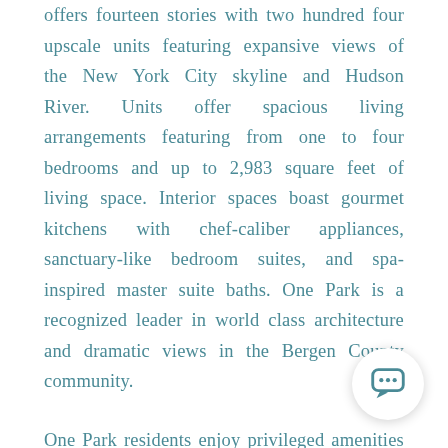offers fourteen stories with two hundred four upscale units featuring expansive views of the New York City skyline and Hudson River. Units offer spacious living arrangements featuring from one to four bedrooms and up to 2,983 square feet of living space. Interior spaces boast gourmet kitchens with chef-caliber appliances, sanctuary-like bedroom suites, and spa-inspired master suite baths. One Park is a recognized leader in world class architecture and dramatic views in the Bergen County community.
One Park residents enjoy privileged amenities and a short commute to and from New York City. With amenities that rival New York City luxury buildings including an outdoor movie theater, fitness center, golf simulator, children's playroom, and more, residents